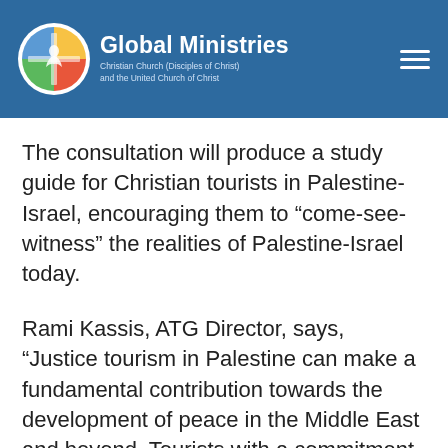Global Ministries — Christian Church (Disciples of Christ) and the United Church of Christ
The consultation will produce a study guide for Christian tourists in Palestine-Israel, encouraging them to “come-see-witness” the realities of Palestine-Israel today.
Rami Kassis, ATG Director, says, “Justice tourism in Palestine can make a fundamental contribution towards the development of peace in the Middle East and beyond. Tourists with a commitment to social justice – justice tourists – have the opportunity, not only to make positive contributions to the